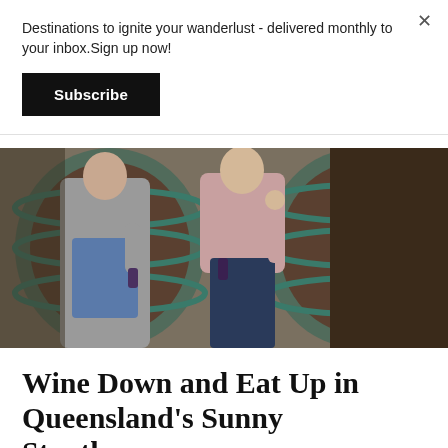Destinations to ignite your wanderlust - delivered monthly to your inbox.Sign up now!
Subscribe
[Figure (photo): Two people holding wine glasses standing in front of large wooden wine barrels in a winery cellar. One person wears a grey knit sweater and jeans, the other wears a pink/mauve top and dark jeans.]
Wine Down and Eat Up in Queensland's Sunny Stanthorpe